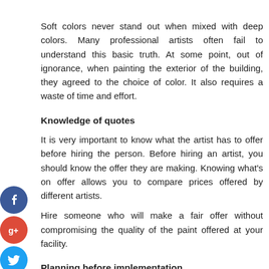Soft colors never stand out when mixed with deep colors. Many professional artists often fail to understand this basic truth. At some point, out of ignorance, when painting the exterior of the building, they agreed to the choice of color. It also requires a waste of time and effort.
Knowledge of quotes
It is very important to know what the artist has to offer before hiring the person. Before hiring an artist, you should know the offer they are making. Knowing what's on offer allows you to compare prices offered by different artists.
Hire someone who will make a fair offer without compromising the quality of the paint offered at your facility.
Planning before implementation
Disorganized planning often leads to a painting of